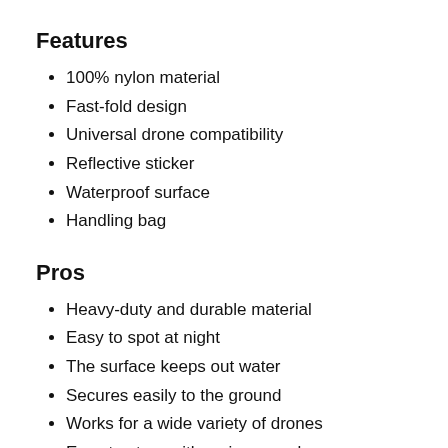Features
100% nylon material
Fast-fold design
Universal drone compatibility
Reflective sticker
Waterproof surface
Handling bag
Pros
Heavy-duty and durable material
Easy to spot at night
The surface keeps out water
Secures easily to the ground
Works for a wide variety of drones
Easy to store with a nice carry bag